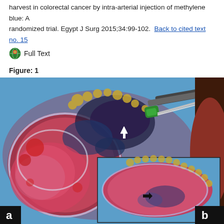harvest in colorectal cancer by intra-arterial injection of methylene blue: A randomized trial. Egypt J Surg 2015;34:99-102.
Full Text
Figure: 1
[Figure (photo): Medical photograph showing a colorectal cancer specimen. Panel (a) shows the resected bowel specimen with blue dye staining from intra-arterial methylene blue injection, with an inset showing a close-up view of the specimen. A syringe with green hub is visible injecting the specimen. Arrows indicate relevant areas. Letter 'a' is labeled in the lower left corner and 'b' is partially visible at lower right.]